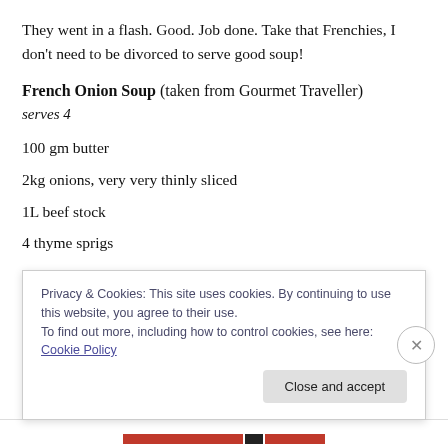They went in a flash. Good. Job done. Take that Frenchies, I don't need to be divorced to serve good soup!
French Onion Soup (taken from Gourmet Traveller)
serves 4
100 gm butter
2kg onions, very very thinly sliced
1L beef stock
4 thyme sprigs
3 parsley stalks
Privacy & Cookies: This site uses cookies. By continuing to use this website, you agree to their use.
To find out more, including how to control cookies, see here: Cookie Policy
Close and accept